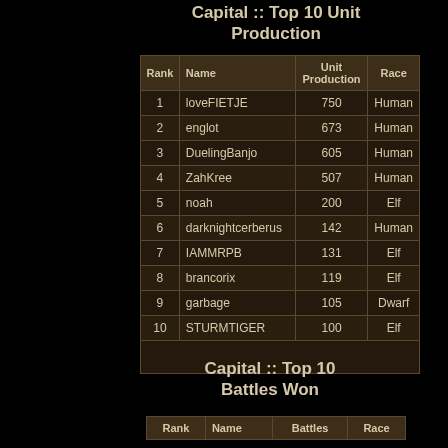Capital :: Top 10 Unit Production
| Rank | Name | Unit Production | Race |
| --- | --- | --- | --- |
| 1 | loveFIETJE | 750 | Human |
| 2 | englot | 673 | Human |
| 3 | DuelingBanjo | 605 | Human |
| 4 | ZahKree | 507 | Human |
| 5 | noah | 200 | Elf |
| 6 | darknightcerberus | 142 | Human |
| 7 | IAMMRPB | 131 | Elf |
| 8 | brancorix | 119 | Elf |
| 9 | garbage | 105 | Dwarf |
| 10 | STURMTIGER | 100 | Elf |
Capital :: Top 10 Battles Won
| Rank | Name | Battles | Race |
| --- | --- | --- | --- |